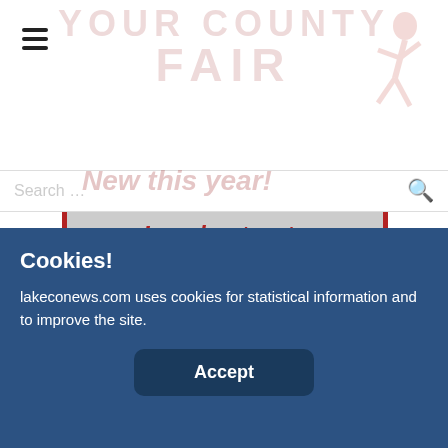Fair website header with hamburger menu and search bar
[Figure (illustration): Faded red watermark text of a fair logo with 'FAIR' and a running character figure on the right]
New this year!
[Figure (infographic): Banner advertisement: 'Local entrants invited for the MUD BOGGS!' with subtext 'YES! You read that right, click here to sign up!' followed by 'GRANDSTAND EVENTS' in blue bold text]
Cookies!
lakeconews.com uses cookies for statistical information and to improve the site.
Accept